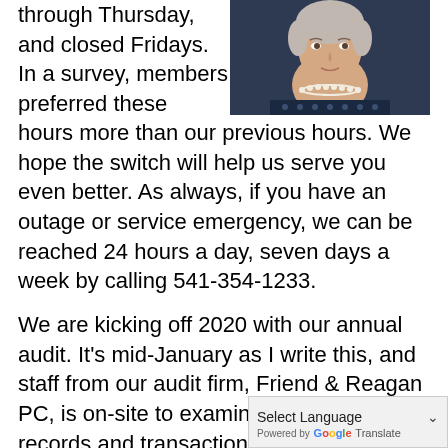through Thursday, and closed Fridays. In a survey, members preferred these hours more than our previous hours. We hope the switch will help us serve you even better. As always, if you have an outage or service emergency, we can be reached 24 hours a day, seven days a week by calling 541-354-1233.
[Figure (photo): Portrait photo of a woman with pearl necklace wearing a dark navy patterned top, cropped to head and shoulders]
We are kicking off 2020 with our annual audit. It's mid-January as I write this, and staff from our audit firm, Friend & Reagan PC, is on-site to examine our accounting records and transactions for 2019. Their work will result in the publication of year-end financial statements and an auditor's report for March Pl...